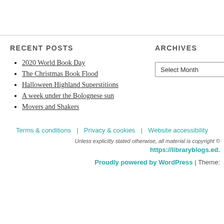RECENT POSTS
2020 World Book Day
The Christmas Book Flood
Halloween Highland Superstitions
A week under the Bolognese sun
Movers and Shakers
ARCHIVES
Select Month
CATEGORIES
Select Category
Terms & conditions | Privacy & cookies | Website accessibility | Unless explicitly stated otherwise, all material is copyright © https://libraryblogs.ed. | Proudly powered by WordPress | Theme: